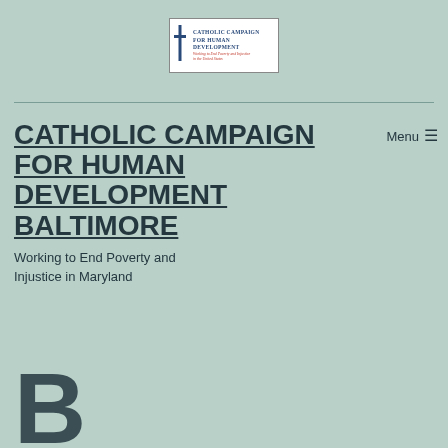[Figure (logo): Catholic Campaign for Human Development logo with cross icon, blue title text and red italic subtitle]
CATHOLIC CAMPAIGN FOR HUMAN DEVELOPMENT BALTIMORE
Menu ☰
Working to End Poverty and Injustice in Maryland